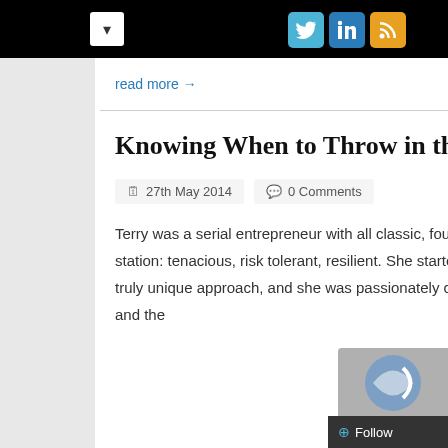read more →
Knowing When to Throw in the Towel
27th May 2014   0 Comments
Terry was a serial entrepreneur with all classic, foundational attributes of her station: tenacious, risk tolerant, resilient. She started a services company with a truly unique approach, and she was passionately committed to both the company and the